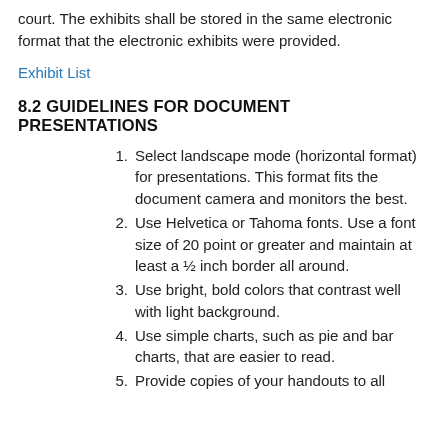court. The exhibits shall be stored in the same electronic format that the electronic exhibits were provided.
Exhibit List
8.2 GUIDELINES FOR DOCUMENT PRESENTATIONS
Select landscape mode (horizontal format) for presentations. This format fits the document camera and monitors the best.
Use Helvetica or Tahoma fonts. Use a font size of 20 point or greater and maintain at least a ½ inch border all around.
Use bright, bold colors that contrast well with light background.
Use simple charts, such as pie and bar charts, that are easier to read.
Provide copies of your handouts to all